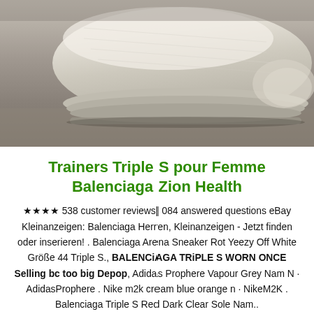[Figure (photo): Close-up photo of a white/cream Balenciaga Triple S sneaker sitting on a grey/beige surface, shot from above at an angle showing the sole and upper portion of the shoe.]
Trainers Triple S pour Femme Balenciaga Zion Health
★★★★ 538 customer reviews| 084 answered questions eBay Kleinanzeigen: Balenciaga Herren, Kleinanzeigen - Jetzt finden oder inserieren! . Balenciaga Arena Sneaker Rot Yeezy Off White Größe 44 Triple S., BALENCiAGA TRiPLE S WORN ONCE Selling bc too big Depop, Adidas Prophere Vapour Grey Nam N · AdidasProphere . Nike m2k cream blue orange n · NikeM2K . Balenciaga Triple S Red Dark Clear Sole Nam..